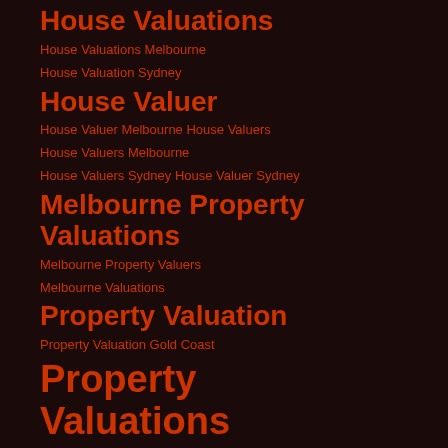House Valuations
House Valuations Melbourne
House Valuation Sydney
House Valuer
House Valuer Melbourne  House Valuers
House Valuers Melbourne
House Valuers Sydney  House Valuer Sydney
Melbourne Property Valuations
Melbourne Property Valuers
Melbourne Valuations
Property Valuation
Property Valuation Gold Coast
Property Valuations
Property Valuations Brisbane
Property Valuations